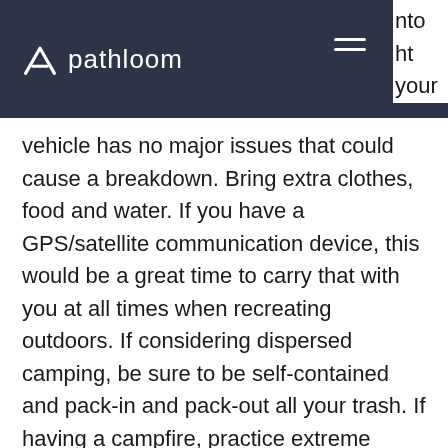pathloom
your vehicle has no major issues that could cause a breakdown. Bring extra clothes, food and water. If you have a GPS/satellite communication device, this would be a great time to carry that with you at all times when recreating outdoors. If considering dispersed camping, be sure to be self-contained and pack-in and pack-out all your trash. If having a campfire, practice extreme precaution with fire safety and have necessary permits as we are entering the fire season in many parts of the country.